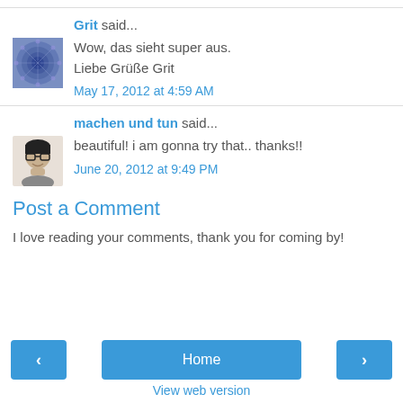Grit said... Wow, das sieht super aus. Liebe Grüße Grit. May 17, 2012 at 4:59 AM
machen und tun said... beautiful! i am gonna try that.. thanks!! June 20, 2012 at 9:49 PM
Post a Comment
I love reading your comments, thank you for coming by!
< Home > View web version